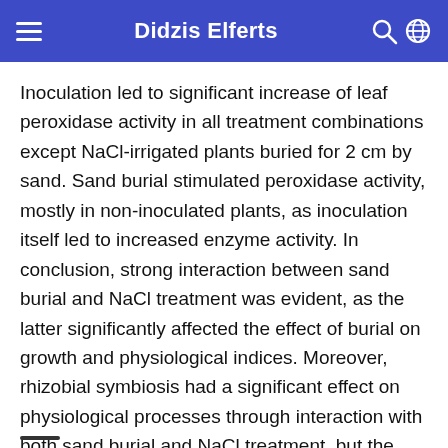Didzis Elferts
Inoculation led to significant increase of leaf peroxidase activity in all treatment combinations except NaCl-irrigated plants buried for 2 cm by sand. Sand burial stimulated peroxidase activity, mostly in non-inoculated plants, as inoculation itself led to increased enzyme activity. In conclusion, strong interaction between sand burial and NaCl treatment was evident, as the latter significantly affected the effect of burial on growth and physiological indices. Moreover, rhizobial symbiosis had a significant effect on physiological processes through interaction with both sand burial and NaCl treatment, but the effect was rather controversial; it was positive for photosynthesis-related parameters but negative for growth and tissue integrity indices.